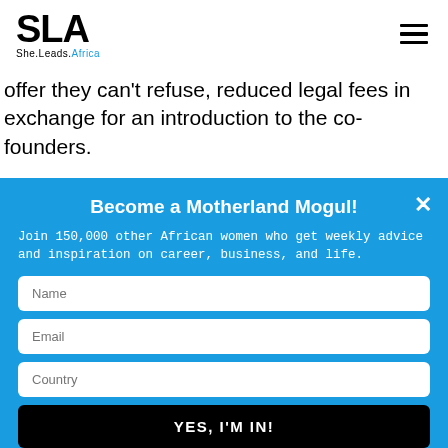SLA She.Leads.Africa
offer they can't refuse, reduced legal fees in exchange for an introduction to the co-founders.
Become a Motherland Mogul!
Join 150,000 other African women who get weekly advice and inspiration on career, business, and life.
Name
Email
Country
YES, I'M IN!